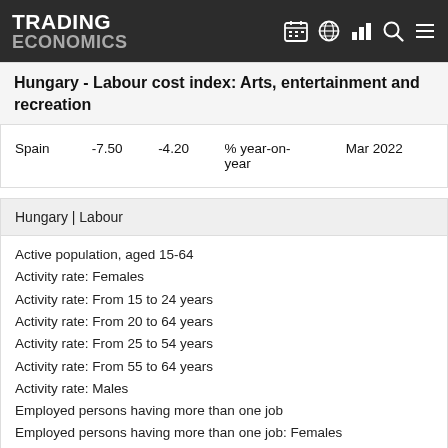TRADING ECONOMICS
Hungary - Labour cost index: Arts, entertainment and recreation
| Country | Value1 | Value2 | Unit | Date |
| --- | --- | --- | --- | --- |
| Spain | -7.50 | -4.20 | % year-on-year | Mar 2022 |
Hungary | Labour
Active population, aged 15-64
Activity rate: Females
Activity rate: From 15 to 24 years
Activity rate: From 20 to 64 years
Activity rate: From 25 to 54 years
Activity rate: From 55 to 64 years
Activity rate: Males
Employed persons having more than one job
Employed persons having more than one job: Females
Employed persons having more than one job: Males